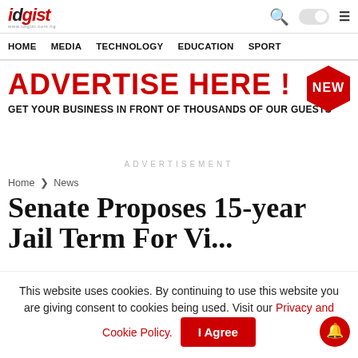idigist — HOME  MEDIA  TECHNOLOGY  EDUCATION  SPORT
[Figure (infographic): Advertisement banner: ADVERTISE HERE! GET YOUR BUSINESS IN FRONT OF THOUSANDS OF OUR GUESTS, with NEW badge in top-right corner]
ADVERTISEMENT
Home > News
Senate Proposes 15-year
This website uses cookies. By continuing to use this website you are giving consent to cookies being used. Visit our Privacy and Cookie Policy.
I Agree